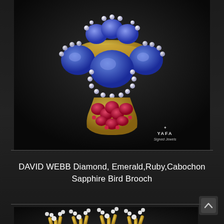[Figure (photo): Close-up photograph of a David Webb brooch featuring large cabochon sapphires (blue), rubies (pink/red), diamonds, and gold metalwork on a dark background. YAFA Signed Jewels watermark visible in lower right corner.]
DAVID WEBB Diamond, Emerald,Ruby,Cabochon Sapphire Bird Brooch
[Figure (photo): Partial photograph of a gold and diamond brooch with branch-like gold metalwork tipped with diamond clusters, on a dark background.]